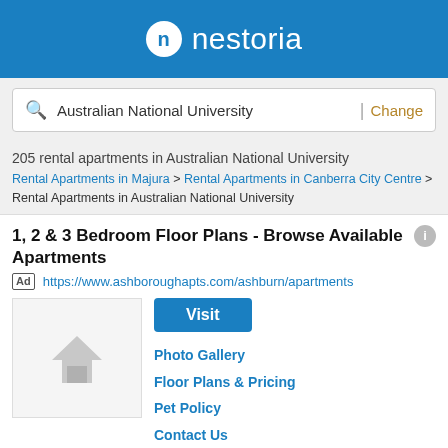[Figure (logo): Nestoria logo: white circle with 'n' and white text 'nestoria' on blue background]
Australian National University | Change
205 rental apartments in Australian National University
Rental Apartments in Majura > Rental Apartments in Canberra City Centre > Rental Apartments in Australian National University
1, 2 & 3 Bedroom Floor Plans - Browse Available Apartments
Ad https://www.ashboroughapts.com/ashburn/apartments
[Figure (illustration): Placeholder image with grey house/home silhouette icon]
Visit
Photo Gallery
Floor Plans & Pricing
Pet Policy
Contact Us
We Can't Wait To Welcome You Home. Browse Our Floor Plans, Amenities, Photos, & More Online. Close to Everything. Apartments to...
Luxury 1 & 2 BR Apts Near DC - Spacious 1 & 2 BR Apts -